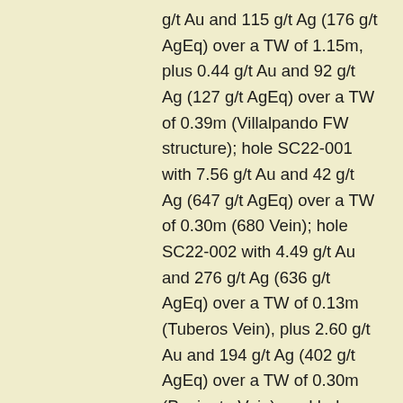g/t Au and 115 g/t Ag (176 g/t AgEq) over a TW of 1.15m, plus 0.44 g/t Au and 92 g/t Ag (127 g/t AgEq) over a TW of 0.39m (Villalpando FW structure); hole SC22-001 with 7.56 g/t Au and 42 g/t Ag (647 g/t AgEq) over a TW of 0.30m (680 Vein); hole SC22-002 with 4.49 g/t Au and 276 g/t Ag (636 g/t AgEq) over a TW of 0.13m (Tuberos Vein), plus 2.60 g/t Au and 194 g/t Ag (402 g/t AgEq) over a TW of 0.30m (Poniente Vein); and hole P21-22 with 1.04 g/t Au and 130 g/t Ag (203 g/t AgEq) over a TW of 1.56m (Arroyo structure), including 2.11 g/t Au and 227 g/t Ag (396 g/t AgEq) over a TW of 0.60m, plus 1.15 g/t Au and 193 g/t Ag (285 g/t AgEq) over a TW of 0.24m (Pinguico Vein). "These results serve to build confidence in our understanding of geological controls of high-